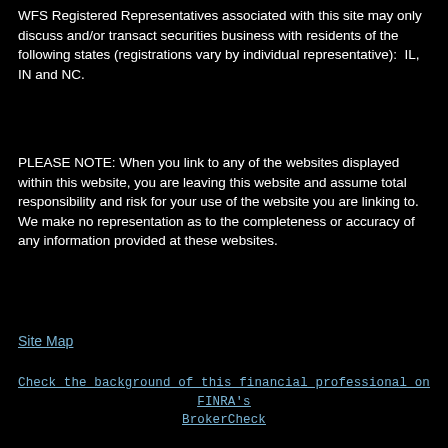WFS Registered Representatives associated with this site may only discuss and/or transact securities business with residents of the following states (registrations vary by individual representative):  IL, IN and NC.
PLEASE NOTE: When you link to any of the websites displayed within this website, you are leaving this website and assume total responsibility and risk for your use of the website you are linking to. We make no representation as to the completeness or accuracy of any information provided at these websites.
Site Map
Check the background of this financial professional on FINRA's BrokerCheck